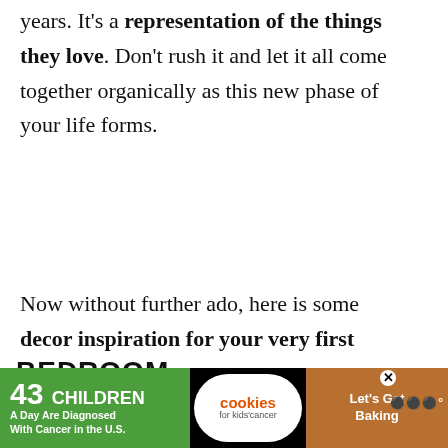years. It's a representation of the things they love. Don't rush it and let it all come together organically as this new phase of your life forms.
Now without further ado, here is some decor inspiration for your very first apartment.
Bedroom
[Figure (other): Advertisement banner: '43 CHILDREN A Day Are Diagnosed With Cancer in the U.S.' with Cookies for Kids Cancer logo and 'Let's Get Baking' text]